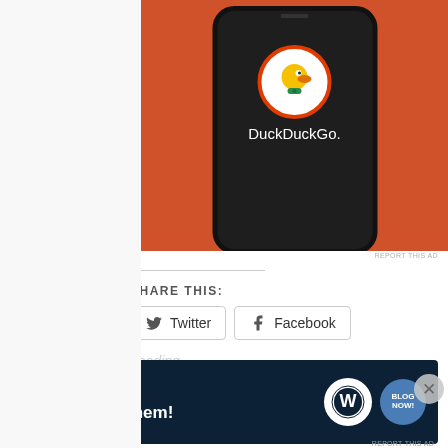[Figure (screenshot): DuckDuckGo app advertisement showing a phone with DuckDuckGo logo on orange background]
REPORT THIS AD
SHARE THIS:
Twitter
Facebook
Loading...
This entry was posted in Cook, Special
Dish for a Celebration and tagged
Advertisements
[Figure (infographic): WordPress advertisement banner — Opinions. We all have them! with WordPress and NOW logos on dark navy background]